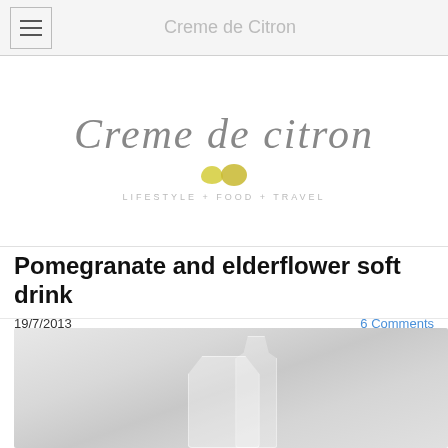Creme de Citron
[Figure (logo): Creme de citron handwritten script logo with two lemon icons and tagline LIFESTYLE + FOOD + TRAVEL]
Pomegranate and elderflower soft drink
19/7/2013
6 Comments
[Figure (photo): A blurry, light-toned photograph of glass containers (a wide glass and a bottle) against a soft grey fabric background]